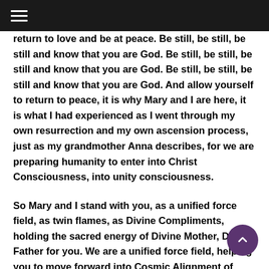≡
return to love and be at peace. Be still, be still, be still and know that you are God. Be still, be still, be still and know that you are God. Be still, be still, be still and know that you are God. And allow yourself to return to peace, it is why Mary and I are here, it is what I had experienced as I went through my own resurrection and my own ascension process, just as my grandmother Anna describes, for we are preparing humanity to enter into Christ Consciousness, into unity consciousness.
So Mary and I stand with you, as a unified force field, as twin flames, as Divine Compliments, holding the sacred energy of Divine Mother, Divine Father for you. We are a unified force field, helping you to move forward into Cosmic Alignment of your own truth. Prepare yourself to